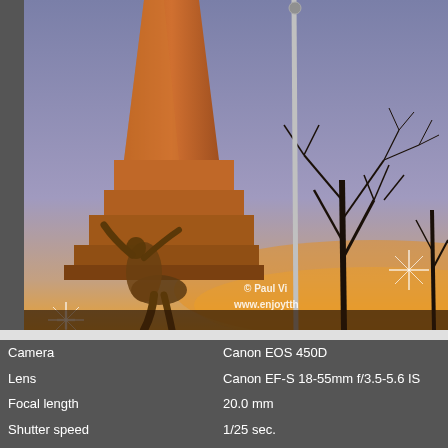[Figure (photo): Photograph of a stone obelisk monument at dusk/sunset, with a bronze figure sculpture at its base, a lamp post, bare winter trees, and decorative star lights. Warm orange glow on stonework, purple-blue sky, orange horizon. Watermark text: © Paul Vi... and www.enjoytth]
| Camera | Canon EOS 450D |
| Lens | Canon EF-S 18-55mm f/3.5-5.6 IS |
| Focal length | 20.0 mm |
| Shutter speed | 1/25 sec. |
| Aperture value | F3.5 |